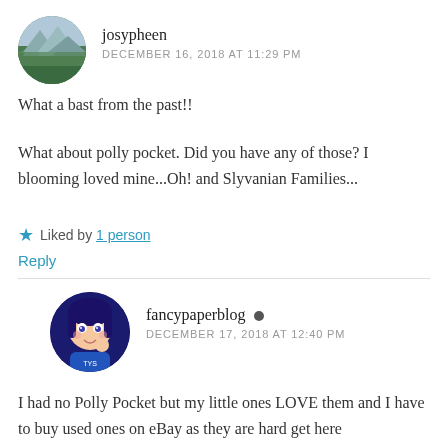[Figure (photo): Circular avatar photo showing a mountain landscape with green fields and mountains in the background]
josypheen
DECEMBER 16, 2018 AT 11:29 PM
What a bast from the past!!
What about polly pocket. Did you have any of those? I blooming loved mine...Oh! and Slyvanian Families...
Liked by 1 person
Reply
[Figure (illustration): Circular avatar illustration of an anime-style girl with dark blue hair wearing a blue top]
fancypaperblog
DECEMBER 17, 2018 AT 12:40 PM
I had no Polly Pocket but my little ones LOVE them and I have to buy used ones on eBay as they are hard get here